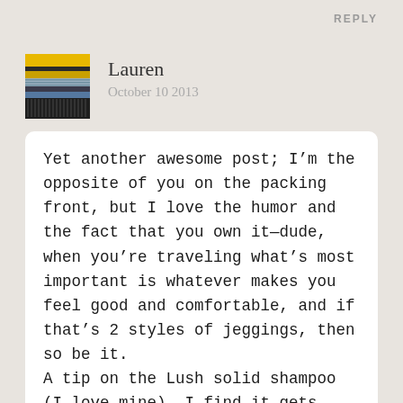REPLY
Lauren
October 10 2013
[Figure (photo): User avatar thumbnail showing horizontal striped pattern with yellow, blue and grey tones, resembling stacked books or fabric]
Yet another awesome post; I’m the opposite of you on the packing front, but I love the humor and the fact that you own it—dude, when you’re traveling what’s most important is whatever makes you feel good and comfortable, and if that’s 2 styles of jeggings, then so be it.
A tip on the Lush solid shampoo (I love mine)– I find it gets mushy in the tin that Lush sells. The most awesome solution I’ve found is to keep it in a Hubble Bubble Gum dispenser (remember that